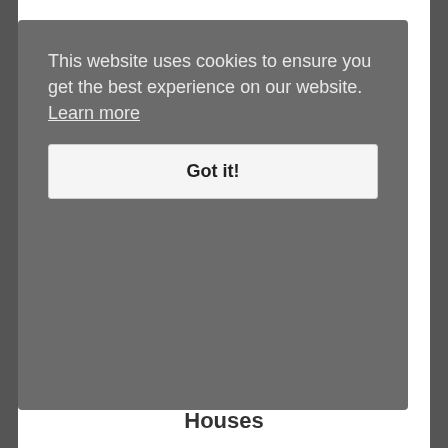This website uses cookies to ensure you get the best experience on our website. Learn more
Got it!
Houses
1st
2nd
3rd
4th
5th
6th
7th
8th
9th
10th